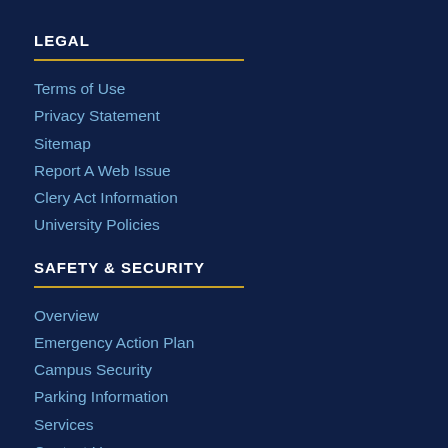LEGAL
Terms of Use
Privacy Statement
Sitemap
Report A Web Issue
Clery Act Information
University Policies
SAFETY & SECURITY
Overview
Emergency Action Plan
Campus Security
Parking Information
Services
Contact Us